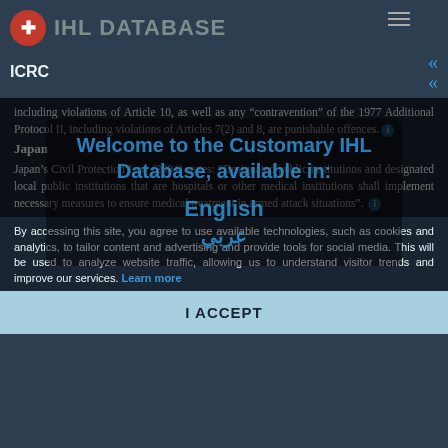IHL DATABASE — ICRC
including violations of Article 10, as well as any "contravention" of the 1977 Additional Protocol II, including violations of Articles 7(2) and 8, are punishable offences.
Japan
Japan's Civil Protection Law (2004) states: "Designated public institutions and designated local public institutions that are hospitals or other medical institutions shall implement necessary measures to ensure medical treatment in armed attack situations".
[Figure (screenshot): Welcome overlay modal with text: Welcome to the Customary IHL Database, available in: English / Arabic (عربي)]
By accessing this site, you agree to use available technologies, such as cookies and analytics, to tailor content and advertising and provide tools for social media. This will be used to analyze website traffic, allowing us to understand visitor trends and improve our services. Learn more
I ACCEPT